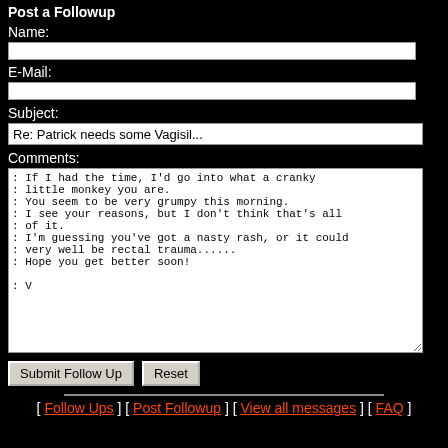Post a Followup
Name:
E-Mail:
Subject:
Re: Patrick needs some Vagisil...
Comments:
: If I had the time, I'd go into what a cranky
: little monkey you are.
: You seem to be very grumpy this morning.
: I see your reasons, but I don't think that's all
: of it.
: I'm guessing you've got a nasty rash, or it could
: very well be rectal trauma......
: Hope you get better soon!

: V
Submit Follow Up   Reset
[ Follow Ups ] [ Post Followup ] [ View all messages ] [ FAQ ]